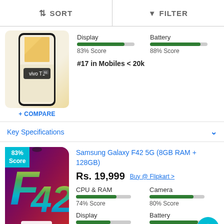SORT   FILTER
[Figure (photo): Vivo T1 5G smartphone image with gold/cream background]
Display
83% Score
Battery
88% Score
#17 in Mobiles < 20k
+ COMPARE
Key Specifications
[Figure (photo): Samsung Galaxy F42 5G smartphone with colorful F42 5G branding on purple/red gradient background]
83% Score
Samsung Galaxy F42 5G (8GB RAM + 128GB)
Rs. 19,999
Buy @ Flipkart >
CPU & RAM
74% Score
Camera
80% Score
Display
63% Score
Battery
88% Score
+ COMPARE